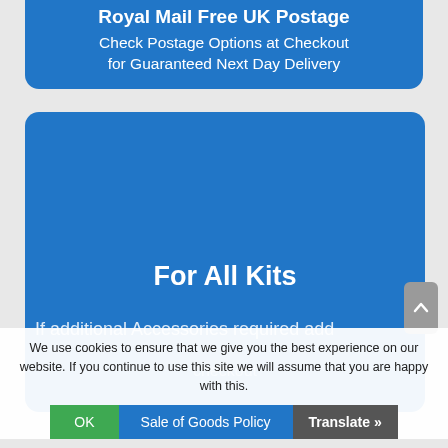Royal Mail Free UK Postage
Check Postage Options at Checkout for Guaranteed Next Day Delivery
For All Kits
If additional Accessories required add
We use cookies to ensure that we give you the best experience on our website. If you continue to use this site we will assume that you are happy with this.
OK | Sale of Goods Policy | Translate »